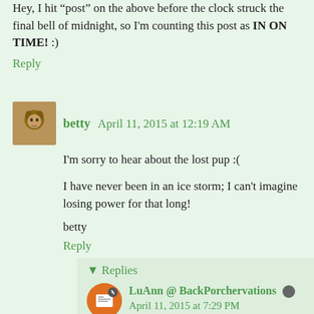Hey, I hit "post" on the above before the clock struck the final bell of midnight, so I'm counting this post as IN ON TIME! :)
Reply
betty  April 11, 2015 at 12:19 AM
I'm sorry to hear about the lost pup :(
I have never been in an ice storm; I can't imagine losing power for that long!
betty
Reply
Replies
LuAnn @ BackPorchervations  April 11, 2015 at 7:29 PM
Thanks betty! I've never been so creative at mealtime, I can tell you that! *lol*